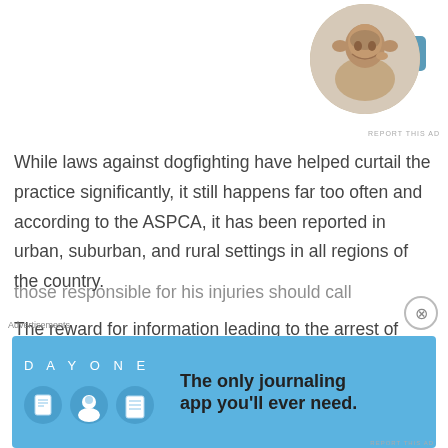[Figure (other): Blue 'Apply' button for an advertisement]
[Figure (photo): Circular profile photo of a young man thinking, resting his chin on his hand]
REPORT THIS AD
While laws against dogfighting have helped curtail the practice significantly, it still happens far too often and according to the ASPCA, it has been reported in urban, suburban, and rural settings in all regions of the country.
The reward for information leading to the arrest of Baron's abuser(s) is now up to $40,000 and anyone with information about Baron or those responsible for his injuries should call
Advertisements
[Figure (other): DAY ONE journaling app advertisement banner with blue background and three illustrated icons (journal, person, notepad). Tagline: The only journaling app you'll ever need.]
REPORT THIS AD